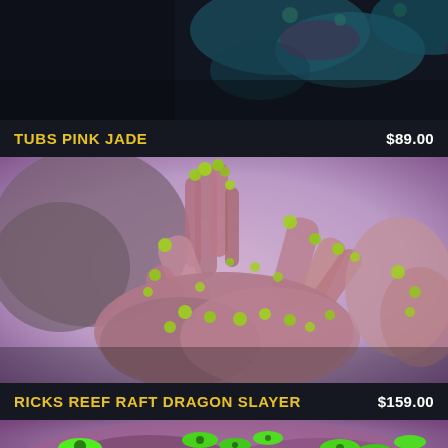[Figure (photo): Close-up photo of a coral frag — appears to be a pink/teal acropora coral against a dark blue/black background, partially cropped at top]
TUBS PINK JADE
$89.00
[Figure (photo): Close-up photo of a pink branching coral (acropora/stylophora type) with bright green polyp tips against a blurred purple/lavender background]
RICKS REEF RAFT DRAGON SLAYER
$159.00
[Figure (photo): Close-up photo of a coral with bright neon green tubular polyps and purple/pink base, partially cropped at bottom]